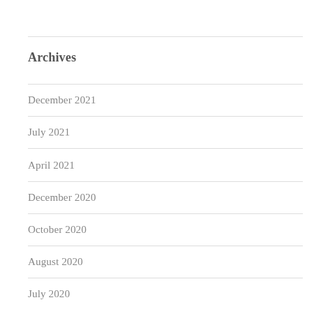Archives
December 2021
July 2021
April 2021
December 2020
October 2020
August 2020
July 2020